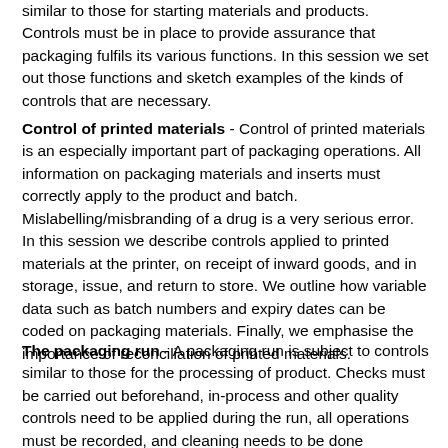similar to those for starting materials and products. Controls must be in place to provide assurance that packaging fulfils its various functions. In this session we set out those functions and sketch examples of the kinds of controls that are necessary.
Control of printed materials - Control of printed materials is an especially important part of packaging operations. All information on packaging materials and inserts must correctly apply to the product and batch. Mislabelling/misbranding of a drug is a very serious error. In this session we describe controls applied to printed materials at the printer, on receipt of inward goods, and in storage, issue, and return to store. We outline how variable data such as batch numbers and expiry dates can be coded on packaging materials. Finally, we emphasise the importance of reconciliation of printed materials.
The packaging run - A packaging run is subject to controls similar to those for the processing of product. Checks must be carried out beforehand, in-process and other quality controls need to be applied during the run, all operations must be recorded, and cleaning needs to be done afterwards. In this session we identify